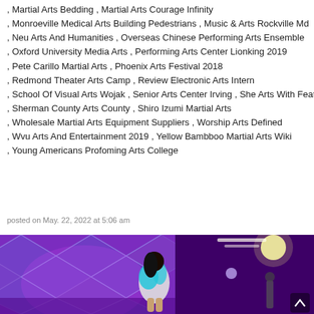, Martial Arts Bedding , Martial Arts Courage Infinity
, Monroeville Medical Arts Building Pedestrians , Music & Arts Rockville Md
, Neu Arts And Humanities , Overseas Chinese Performing Arts Ensemble
, Oxford University Media Arts , Performing Arts Center Lionking 2019
, Pete Carillo Martial Arts , Phoenix Arts Festival 2018
, Redmond Theater Arts Camp , Review Electronic Arts Intern
, School Of Visual Arts Wojak , Senior Arts Center Irving , She Arts With Feathers
, Sherman County Arts County , Shiro Izumi Martial Arts
, Wholesale Martial Arts Equipment Suppliers , Worship Arts Defined
, Wvu Arts And Entertainment 2019 , Yellow Bambboo Martial Arts Wiki
, Young Americans Profoming Arts College
posted on May. 22, 2022 at 5:06 am
[Figure (photo): A performer on stage in a white and teal outfit performing under purple and pink stage lighting with geometric diamond backdrop]